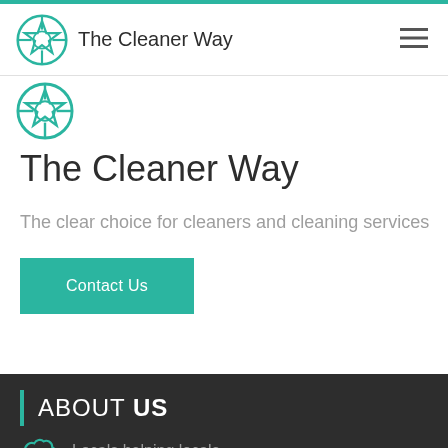The Cleaner Way
The Cleaner Way
The clear choice for cleaners and cleaning services
Contact Us
ABOUT US
Locals helping locals